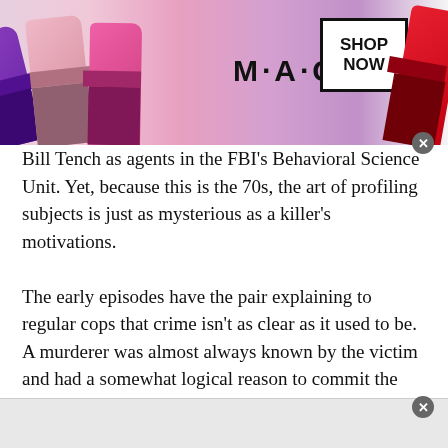[Figure (other): MAC cosmetics advertisement banner showing colorful lipsticks (purple, pink, mauve, hot pink, red) arranged diagonally, with MAC logo in center and a 'SHOP NOW' box on the right side]
Bill Tench as agents in the FBI's Behavioral Science Unit. Yet, because this is the 70s, the art of profiling subjects is just as mysterious as a killer's motivations.

The early episodes have the pair explaining to regular cops that crime isn't as clear as it used to be. A murderer was almost always known by the victim and had a somewhat logical reason to commit the crime. Now, detectives are faced with someone killing random strangers without rhyme or reason and with very unusual M.O.s. They
[Figure (other): Bottom advertisement banner, light grey background, partially visible]